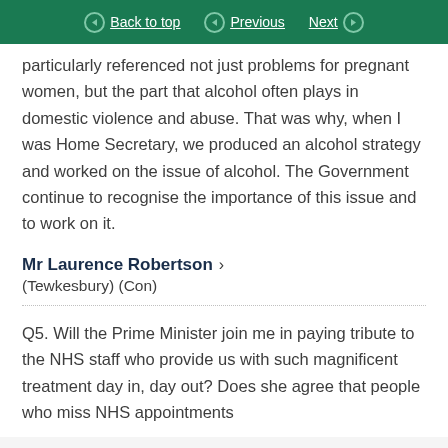Back to top | Previous | Next
particularly referenced not just problems for pregnant women, but the part that alcohol often plays in domestic violence and abuse. That was why, when I was Home Secretary, we produced an alcohol strategy and worked on the issue of alcohol. The Government continue to recognise the importance of this issue and to work on it.
Mr Laurence Robertson (Tewkesbury) (Con)
Q5. Will the Prime Minister join me in paying tribute to the NHS staff who provide us with such magnificent treatment day in, day out? Does she agree that people who miss NHS appointments